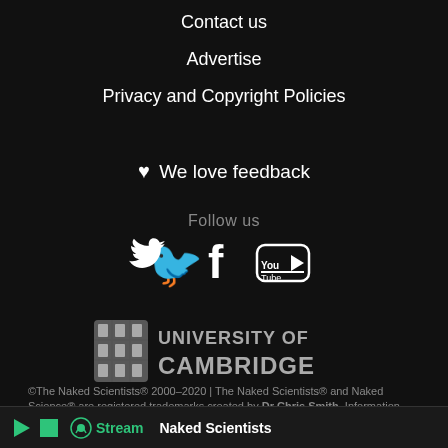Contact us
Advertise
Privacy and Copyright Policies
♥ We love feedback
Follow us
[Figure (illustration): Social media icons: Twitter bird, Facebook f, YouTube logo]
[Figure (logo): University of Cambridge logo with shield and text]
©The Naked Scientists® 2000–2020 | The Naked Scientists® and Naked Science® are registered trademarks created by Dr Chris Smith. Information presented on this website is the opinion of the
▶  ■  🎙 Stream   Naked Scientists